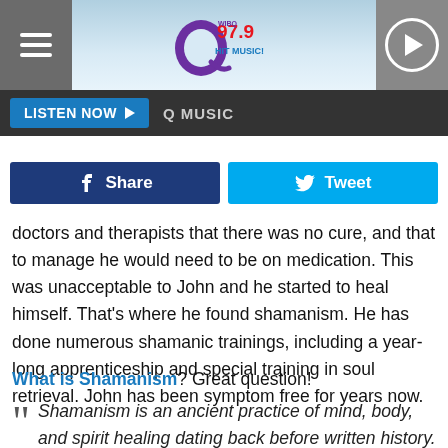[Figure (logo): Q97.9 WIBQ Hit Music radio station website header with hamburger menu, logo, and play button]
LISTEN NOW ▶  Q MUSIC
Share  Tweet (social share buttons)
doctors and therapists that there was no cure, and that to manage he would need to be on medication. This was unacceptable to John and he started to heal himself. That's where he found shamanism. He has done numerous shamanic trainings, including a year-long apprenticeship and special training in soul retrieval. John has been symptom free for years now.
What is Shamanism? Great question!
Shamanism is an ancient practice of mind, body, and spirit healing dating back before written history. The